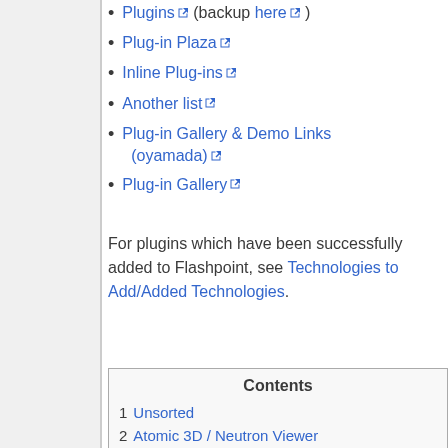Plugins (backup here)
Plug-in Plaza
Inline Plug-ins
Another list
Plug-in Gallery & Demo Links (oyamada)
Plug-in Gallery
For plugins which have been successfully added to Flashpoint, see Technologies to Add/Added Technologies.
| Contents |
| --- |
| 1  Unsorted |
| 2  Atomic 3D / Neutron Viewer |
| 2.1  Downloads |
| 2.2  Examples |
| 2.3  Problems Encountered |
| 3  Castle Game Engine Web Plugin |
| 3.1  Downloads |